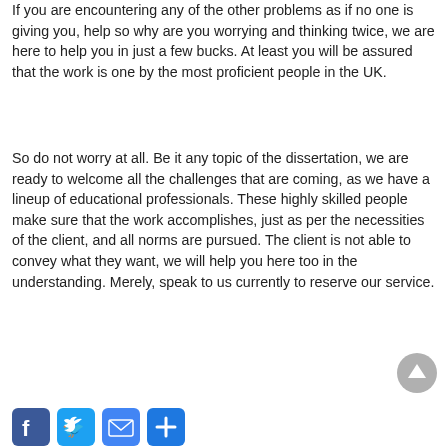If you are encountering any of the other problems as if no one is giving you, help so why are you worrying and thinking twice, we are here to help you in just a few bucks. At least you will be assured that the work is one by the most proficient people in the UK.
So do not worry at all. Be it any topic of the dissertation, we are ready to welcome all the challenges that are coming, as we have a lineup of educational professionals. These highly skilled people make sure that the work accomplishes, just as per the necessities of the client, and all norms are pursued. The client is not able to convey what they want, we will help you here too in the understanding. Merely, speak to us currently to reserve our service.
[Figure (other): Scroll-to-top button (grey circle with upward arrow) and social sharing icons: Facebook, Twitter, Email, Share]